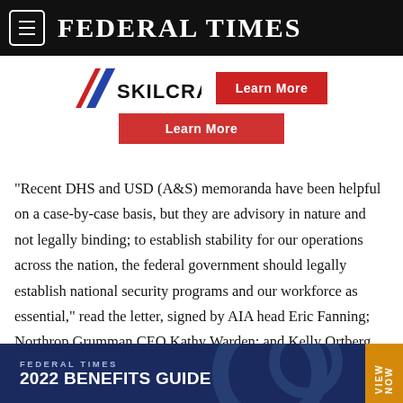FEDERAL TIMES
[Figure (logo): SKILCRAFT logo with red/blue chevron and a red 'Learn More' button advertisement]
“Recent DHS and USD (A&S) memoranda have been helpful on a case-by-case basis, but they are advisory in nature and not legally binding; to establish stability for our operations across the nation, the federal government should legally establish national security programs and our workforce as essential,” read the letter, signed by AIA head Eric Fanning; Northrop Grumman CEO Kathy Warden; and Kelly Ortberg, special adviser to the Office of the CEO of United Technologies.
[Figure (screenshot): Federal Times 2022 Benefits Guide banner advertisement with 'View Now' label]